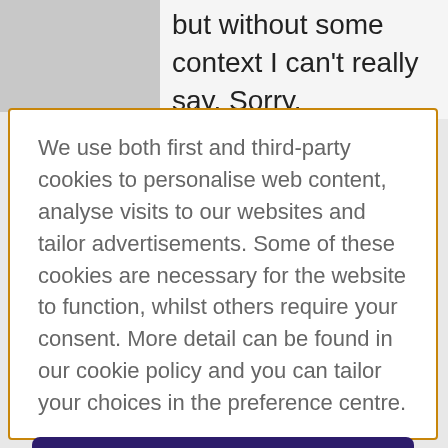but without some context I can't really say. Sorry.
We use both first and third-party cookies to personalise web content, analyse visits to our websites and tailor advertisements. Some of these cookies are necessary for the website to function, whilst others require your consent. More detail can be found in our cookie policy and you can tailor your choices in the preference centre.
Accept All Cookies
Cookies Settings